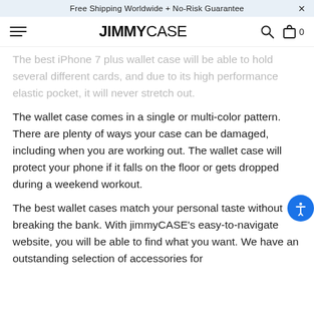Free Shipping Worldwide + No-Risk Guarantee
JIMMYCASE
The best iPhone 7 plus wallet case will be able to hold several different cards, and due to its high performance elastic pocket, it will never stretch out.
The wallet case comes in a single or multi-color pattern. There are plenty of ways your case can be damaged, including when you are working out. The wallet case will protect your phone if it falls on the floor or gets dropped during a weekend workout.
The best wallet cases match your personal taste without breaking the bank. With jimmyCASE's easy-to-navigate website, you will be able to find what you want. We have an outstanding selection of accessories for